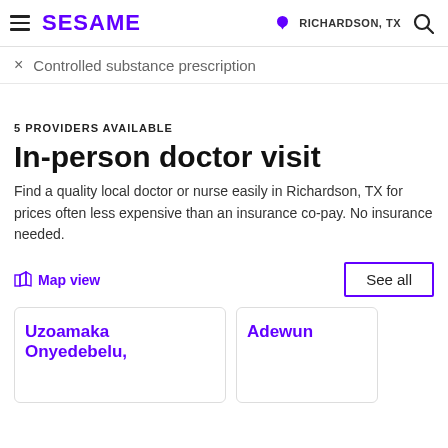SESAME | RICHARDSON, TX
× Controlled substance prescription
5 PROVIDERS AVAILABLE
In-person doctor visit
Find a quality local doctor or nurse easily in Richardson, TX for prices often less expensive than an insurance co-pay. No insurance needed.
Map view
See all
Uzoamaka Onyedebelu,
Adewun